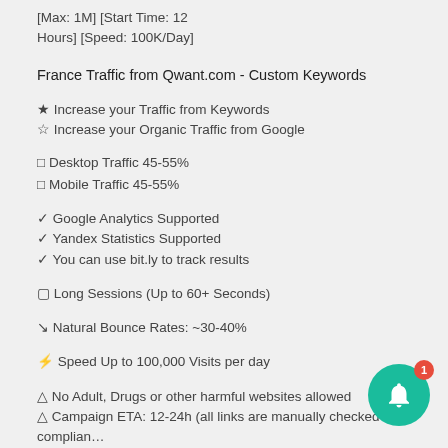[Max: 1M] [Start Time: 12 Hours] [Speed: 100K/Day]
France Traffic from Qwant.com - Custom Keywords
★ Increase your Traffic from Keywords
☆ Increase your Organic Traffic from Google
□ Desktop Traffic 45-55%
□ Mobile Traffic 45-55%
✓ Google Analytics Supported
✓ Yandex Statistics Supported
✓ You can use bit.ly to track results
⏱ Long Sessions (Up to 60+ Seconds)
↘ Natural Bounce Rates: ~30-40%
⚡ Speed Up to 100,000 Visits per day
⚠ No Adult, Drugs or other harmful websites allowed
⚠ Campaign ETA: 12-24h (all links are manually checked for compliance